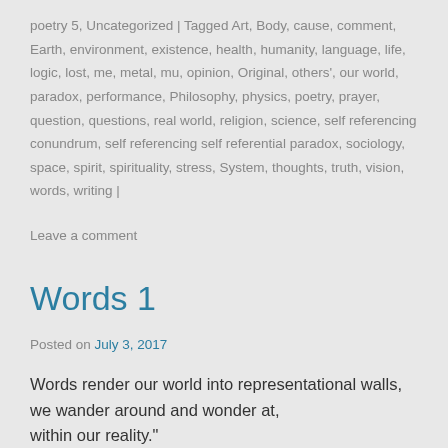poetry 5, Uncategorized | Tagged Art, Body, cause, comment, Earth, environment, existence, health, humanity, language, life, logic, lost, me, metal, mu, opinion, Original, others', our world, paradox, performance, Philosophy, physics, poetry, prayer, question, questions, real world, religion, science, self referencing conundrum, self referencing self referential paradox, sociology, space, spirit, spirituality, stress, System, thoughts, truth, vision, words, writing |
Leave a comment
Words 1
Posted on July 3, 2017
Words render our world into representational walls,
we wander around and wonder at,
within our reality."